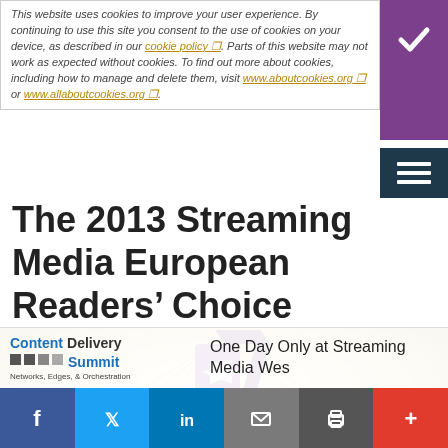This website uses cookies to improve your user experience. By continuing to use this site you consent to the use of cookies on your device, as described in our cookie policy. Parts of this website may not work as expected without cookies. To find out more about cookies, including how to manage and delete them, visit www.aboutcookies.org or www.allaboutcookies.org.
[Figure (infographic): Purple square button with white checkmark icon in top-right corner]
[Figure (infographic): Dark teal hamburger menu icon (three horizontal lines)]
The 2013 Streaming Media European Readers’ Choice Award Winners
[Figure (logo): European Readers' Choice Award logo — purple 3D icon with double arrows, sunburst rays, and text 'EUROPEAN READERS'' at bottom]
[Figure (logo): Content Delivery Summit — Networks, Edges, & Orchestration logo (left ad)]
One Day Only at Streaming Media Wes
[Figure (infographic): Social sharing bar with Facebook, Twitter, LinkedIn, Email, Print, and More buttons]